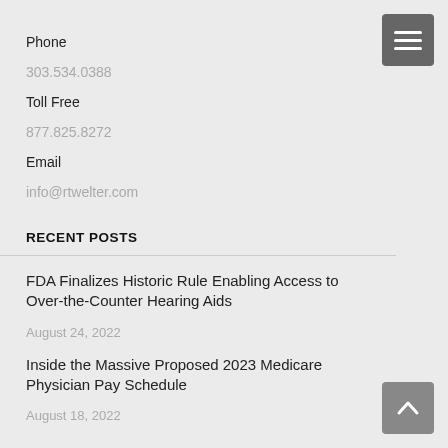Phone
303.534.0388
Toll Free
877.825.8272
Email
info@rtwelter.com
RECENT POSTS
FDA Finalizes Historic Rule Enabling Access to Over-the-Counter Hearing Aids
August 24, 2022
Inside the Massive Proposed 2023 Medicare Physician Pay Schedule
August 18, 2022